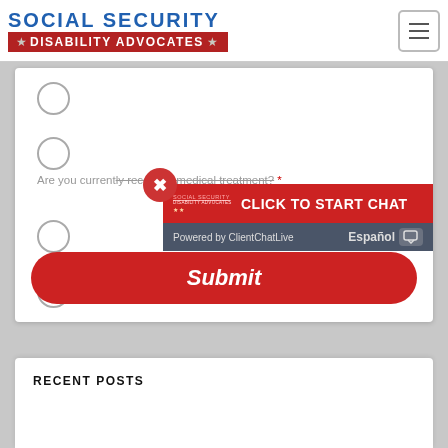[Figure (screenshot): Social Security Disability Advocates website header logo with red banner and hamburger menu button]
[Figure (screenshot): Web form with radio button options for receiving medical treatment question]
Are you currently receiving medical treatment? *
[Figure (screenshot): Chat popup overlay with red background: CLICK TO START CHAT, Powered by ClientChatLive, Español button]
[Figure (screenshot): Submit button - red rounded rectangle with italic white Submit text]
RECENT POSTS